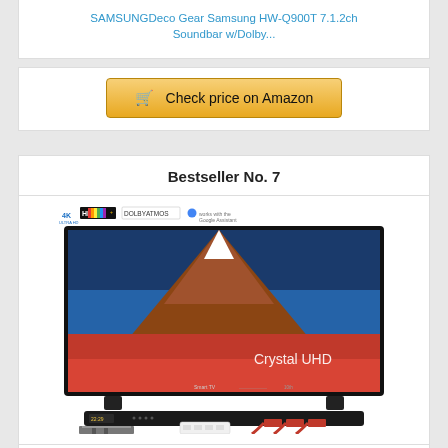SAMSUNGDeco Gear Samsung HW-Q900T 7.1.2ch Soundbar w/Dolby...
Check price on Amazon
Bestseller No. 7
[Figure (photo): Samsung Crystal UHD 4K Smart TV bundle with soundbar, wall mount, cable management box, and HDMI cables]
SAMSUNG UN65TU7000 65" 4K Ultra HD Smart LED TV (2020) with Deco...